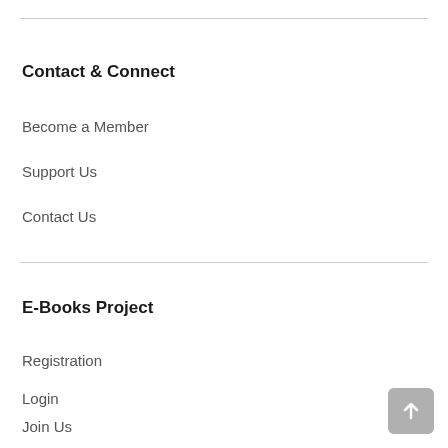Contact & Connect
Become a Member
Support Us
Contact Us
E-Books Project
Registration
Login
Join Us
Volunteers